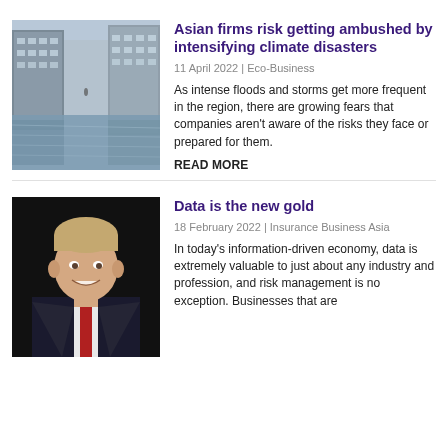[Figure (photo): Flooded urban street with buildings on both sides reflected in water, a single small figure visible in the distance]
Asian firms risk getting ambushed by intensifying climate disasters
11 April 2022 | Eco-Business
As intense floods and storms get more frequent in the region, there are growing fears that companies aren't aware of the risks they face or prepared for them.
READ MORE
[Figure (photo): Portrait photo of a smiling middle-aged man in a dark suit and red tie against a dark background]
Data is the new gold
18 February 2022 | Insurance Business Asia
In today's information-driven economy, data is extremely valuable to just about any industry and profession, and risk management is no exception. Businesses that are